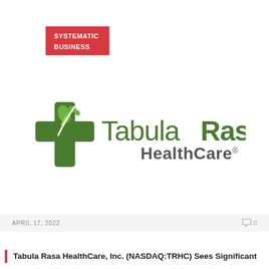SYSTEMATIC BUSINESS
[Figure (logo): Tabula Rasa HealthCare logo with green cross symbol and green/dark grey wordmark]
APRIL 17, 2022
0
Tabula Rasa HealthCare, Inc. (NASDAQ:TRHC) Sees Significant